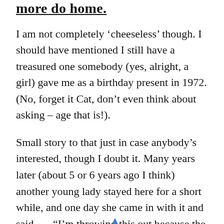more do home.
I am not completely ‘cheeseless’ though. I should have mentioned I still have a treasured one somebody (yes, alright, a girl) gave me as a birthday present in 1972. (No, forget it Cat, don’t even think about asking – age that is!).
Small story to that just in case anybody’s interested, though I doubt it. Many years later (about 5 or 6 years ago I think) another young lady stayed here for a short while, and one day she came in with it and said . . . “I’m throwing this out because the back’s all torn”. Sure enough it had about a six inch tear in it at the back from where it had been hanging in the wardrobe. (Don’t ask me how that happened, I